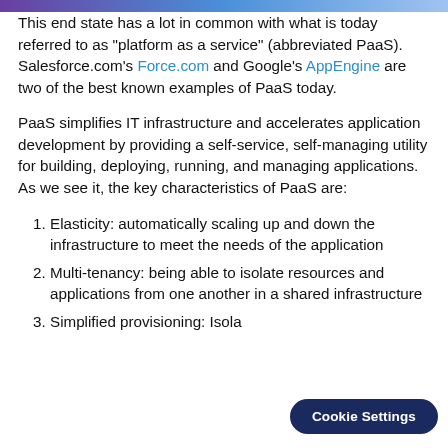[partial header bar — decorative gradient top strip]
This end state has a lot in common with what is today referred to as "platform as a service" (abbreviated PaaS). Salesforce.com's Force.com and Google's AppEngine are two of the best known examples of PaaS today.
PaaS simplifies IT infrastructure and accelerates application development by providing a self-service, self-managing utility for building, deploying, running, and managing applications. As we see it, the key characteristics of PaaS are:
Elasticity: automatically scaling up and down the infrastructure to meet the needs of the application
Multi-tenancy: being able to isolate resources and applications from one another in a shared infrastructure
Simplified provisioning: Isola...